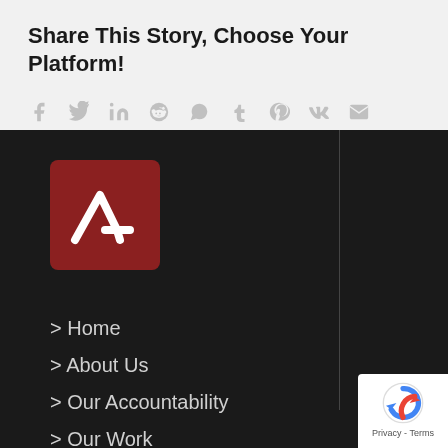Share This Story, Choose Your Platform!
[Figure (infographic): Social sharing icons: Facebook, Twitter, LinkedIn, Reddit, WhatsApp, Tumblr, Pinterest, VK, Email]
[Figure (logo): Red square logo with white arrow/lambda symbol]
> Home
> About Us
> Our Accountability
> Our Work
> Contact Us
[Figure (logo): reCAPTCHA badge with Privacy and Terms text]